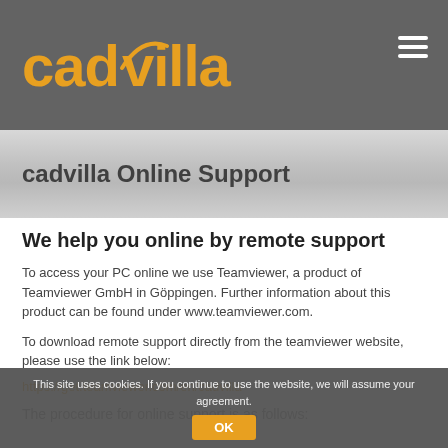cadvilla
cadvilla Online Support
We help you online by remote support
To access your PC online we use Teamviewer, a product of Teamviewer GmbH in Göppingen. Further information about this product can be found under www.teamviewer.com.
To download remote support directly from the teamviewer website, please use the link below:
https://get.teamviewer.com/en/cadvilla
The procedure for online support is as follows:
This site uses cookies. If you continue to use the website, we will assume your agreement.